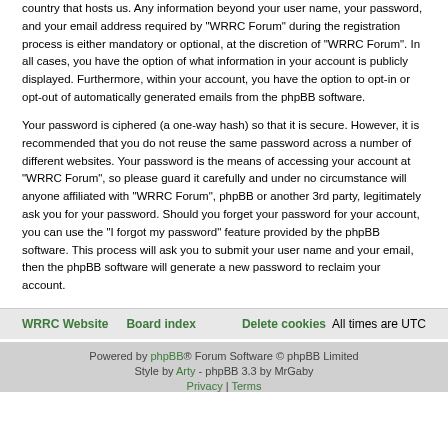country that hosts us. Any information beyond your user name, your password, and your email address required by "WRRC Forum" during the registration process is either mandatory or optional, at the discretion of "WRRC Forum". In all cases, you have the option of what information in your account is publicly displayed. Furthermore, within your account, you have the option to opt-in or opt-out of automatically generated emails from the phpBB software.
Your password is ciphered (a one-way hash) so that it is secure. However, it is recommended that you do not reuse the same password across a number of different websites. Your password is the means of accessing your account at "WRRC Forum", so please guard it carefully and under no circumstance will anyone affiliated with "WRRC Forum", phpBB or another 3rd party, legitimately ask you for your password. Should you forget your password for your account, you can use the "I forgot my password" feature provided by the phpBB software. This process will ask you to submit your user name and your email, then the phpBB software will generate a new password to reclaim your account.
WRRC Website   Board index   Delete cookies   All times are UTC
Powered by phpBB® Forum Software © phpBB Limited
Style by Arty - phpBB 3.3 by MrGaby
Privacy | Terms